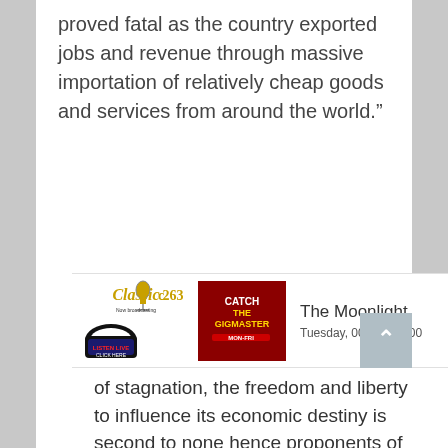proved fatal as the country exported jobs and revenue through massive importation of relatively cheap goods and services from around the world.”
[Figure (logo): Classic 263 radio logo with microphone graphic and LISTEN LIVE CLICK HERE button]
[Figure (photo): Red promotional thumbnail with text CATCH THEGIGMASTER MON-FRI]
The Moonlight
Tuesday, 00:00 - 03:00
of stagnation, the freedom and liberty to influence its economic destiny is second to none hence proponents of